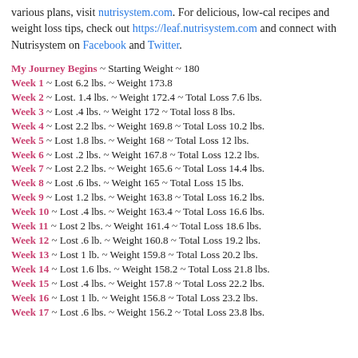various plans, visit nutrisystem.com. For delicious, low-cal recipes and weight loss tips, check out https://leaf.nutrisystem.com and connect with Nutrisystem on Facebook and Twitter.
My Journey Begins ~ Starting Weight ~ 180
Week 1 ~ Lost 6.2 lbs. ~ Weight 173.8
Week 2 ~ Lost. 1.4 lbs. ~ Weight 172.4 ~ Total Loss 7.6 lbs.
Week 3 ~ Lost .4 lbs. ~ Weight 172 ~ Total loss 8 lbs.
Week 4 ~ Lost 2.2 lbs. ~ Weight 169.8 ~ Total Loss 10.2 lbs.
Week 5 ~ Lost 1.8 lbs. ~ Weight 168 ~ Total Loss 12 lbs.
Week 6 ~ Lost .2 lbs. ~ Weight 167.8 ~ Total Loss 12.2 lbs.
Week 7 ~ Lost 2.2 lbs. ~ Weight 165.6 ~ Total Loss 14.4 lbs.
Week 8 ~ Lost .6 lbs. ~ Weight 165 ~ Total Loss 15 lbs.
Week 9 ~ Lost 1.2 lbs. ~ Weight 163.8 ~ Total Loss 16.2 lbs.
Week 10 ~ Lost .4 lbs. ~ Weight 163.4 ~ Total Loss 16.6 lbs.
Week 11 ~ Lost 2 lbs. ~ Weight 161.4 ~ Total Loss 18.6 lbs.
Week 12 ~ Lost .6 lb. ~ Weight 160.8 ~ Total Loss 19.2 lbs.
Week 13 ~ Lost 1 lb. ~ Weight 159.8 ~ Total Loss 20.2 lbs.
Week 14 ~ Lost 1.6 lbs. ~ Weight 158.2 ~ Total Loss 21.8 lbs.
Week 15 ~ Lost .4 lbs. ~ Weight 157.8 ~ Total Loss 22.2 lbs.
Week 16 ~ Lost 1 lb. ~ Weight 156.8 ~ Total Loss 23.2 lbs.
Week 17 ~ Lost .6 lbs. ~ Weight 156.2 ~ Total Loss 23.8 lbs.